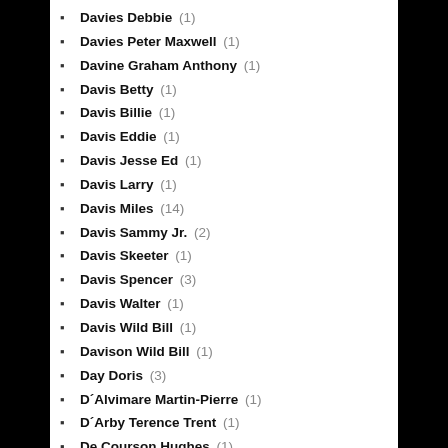Davies Debbie (1)
Davies Peter Maxwell (1)
Davine Graham Anthony (1)
Davis Betty (1)
Davis Billie (1)
Davis Eddie (1)
Davis Jesse Ed (1)
Davis Larry (1)
Davis Miles (14)
Davis Sammy Jr. (2)
Davis Skeeter (1)
Davis Spencer (3)
Davis Walter (1)
Davis Wild Bill (1)
Davison Wild Bill (1)
Day Doris (3)
D´Alvimare Martin-Pierre (1)
D´Arby Terence Trent (1)
De Courson Hughes (1)
De Leeuweriken (1)
Death Cab for Cutie (1)
Deaville Daniel (1)